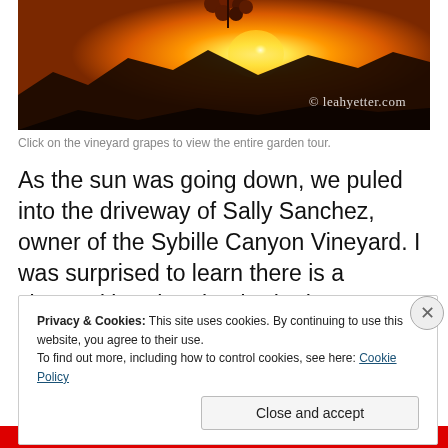[Figure (photo): Sunset vineyard photo with grapes silhouetted against an orange and yellow sky. Watermark reads '© leahyetter.com' in the bottom right.]
Click on the vineyard grapes to view the entire garden tour.
As the sun was going down, we puled into the driveway of Sally Sanchez, owner of the Sybille Canyon Vineyard. I was surprised to learn there is a vineyard in Wheatland. She has approximately 400 plants and is having great
Privacy & Cookies: This site uses cookies. By continuing to use this website, you agree to their use.
To find out more, including how to control cookies, see here: Cookie Policy
Close and accept